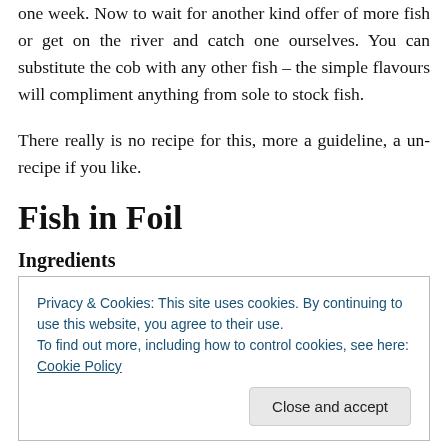one week. Now to wait for another kind offer of more fish or get on the river and catch one ourselves. You can substitute the cob with any other fish – the simple flavours will compliment anything from sole to stock fish.
There really is no recipe for this, more a guideline, a un-recipe if you like.
Fish in Foil
Ingredients
Privacy & Cookies: This site uses cookies. By continuing to use this website, you agree to their use.
To find out more, including how to control cookies, see here: Cookie Policy
[Close and accept]
Black pepper